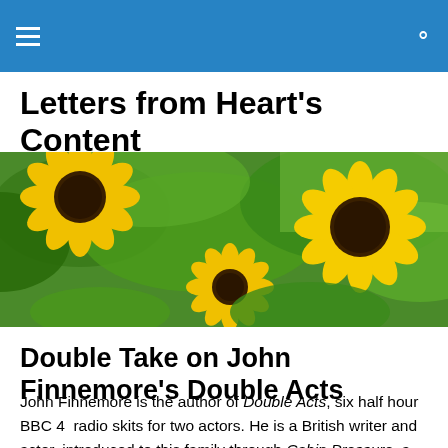Letters from Heart's Content
Letters from Heart's Content
[Figure (photo): Photograph of sunflowers with green leaves in bright sunlight]
Double Take on John Finnemore's Double Acts
John Finnemore is the author of Double Acts, six half hour BBC 4  radio skits for two actors. He is a British writer and actor, introduced to this family through Cabin Pressure, a radio sitcom about the crew and adventures of MJN Air...